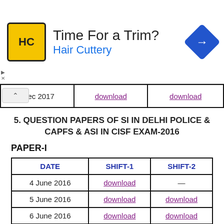[Figure (other): Hair Cuttery advertisement banner with logo, 'Time For a Trim?' headline, and navigation arrow icon]
| DATE | SHIFT-1 | SHIFT-2 |
| --- | --- | --- |
| …ec 2017 | download | download |
5. QUESTION PAPERS OF SI IN DELHI POLICE & CAPFS & ASI IN CISF EXAM-2016
PAPER-I
| DATE | SHIFT-1 | SHIFT-2 |
| --- | --- | --- |
| 4 June 2016 | download | — |
| 5 June 2016 | download | download |
| 6 June 2016 | download | download |
| 7 June 2016 | download | — |